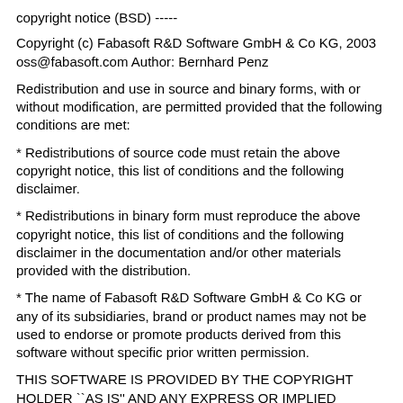copyright notice (BSD) -----
Copyright (c) Fabasoft R&D Software GmbH & Co KG, 2003
oss@fabasoft.com Author: Bernhard Penz
Redistribution and use in source and binary forms, with or without modification, are permitted provided that the following conditions are met:
* Redistributions of source code must retain the above copyright notice, this list of conditions and the following disclaimer.
* Redistributions in binary form must reproduce the above copyright notice, this list of conditions and the following disclaimer in the documentation and/or other materials provided with the distribution.
* The name of Fabasoft R&D Software GmbH & Co KG or any of its subsidiaries, brand or product names may not be used to endorse or promote products derived from this software without specific prior written permission.
THIS SOFTWARE IS PROVIDED BY THE COPYRIGHT HOLDER ``AS IS'' AND ANY EXPRESS OR IMPLIED WARRANTIES, INCLUDING, BUT NOT LIMITED TO, THE